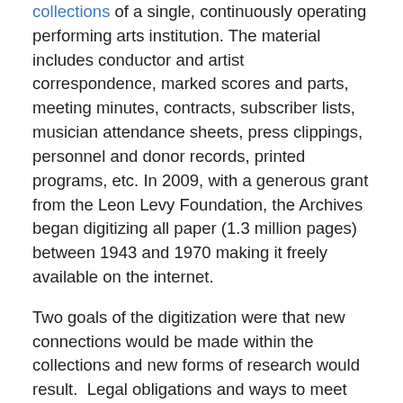collections of a single, continuously operating performing arts institution. The material includes conductor and artist correspondence, marked scores and parts, meeting minutes, contracts, subscriber lists, musician attendance sheets, press clippings, personnel and donor records, printed programs, etc. In 2009, with a generous grant from the Leon Levy Foundation, the Archives began digitizing all paper (1.3 million pages) between 1943 and 1970 making it freely available on the internet.
Two goals of the digitization were that new connections would be made within the collections and new forms of research would result.  Legal obligations and ways to meet these requirements which had not been relevant to a reading-room research had to be worked out. Subscriber records, a record type that had never been used by scholars, became the focus for a new study on New York elites.
Barbara Haws is the Philharmonic's Archivist and